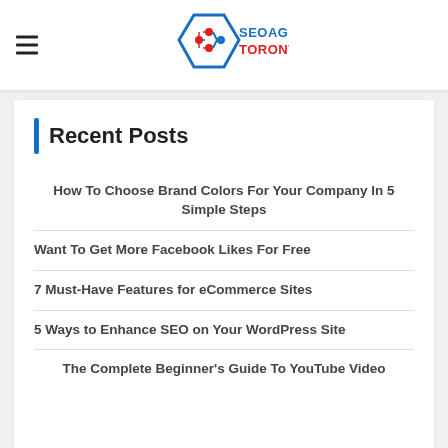SEO AGENCY TORONTO
Recent Posts
How To Choose Brand Colors For Your Company In 5 Simple Steps
Want To Get More Facebook Likes For Free
7 Must-Have Features for eCommerce Sites
5 Ways to Enhance SEO on Your WordPress Site
The Complete Beginner's Guide To YouTube Video